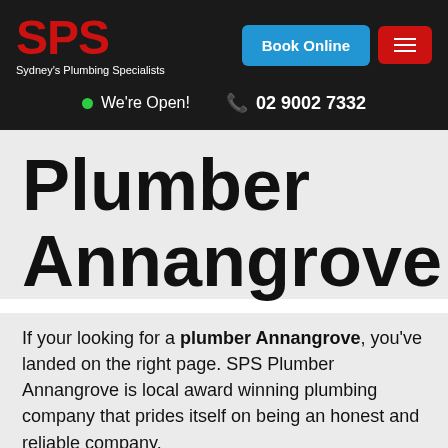SPS Sydney's Plumbing Specialists
We're Open!  02 9002 7332
Plumber Annangrove
If your looking for a plumber Annangrove, you've landed on the right page. SPS Plumber Annangrove is local award winning plumbing company that prides itself on being an honest and reliable company.
Choosing the right plumbing company is important